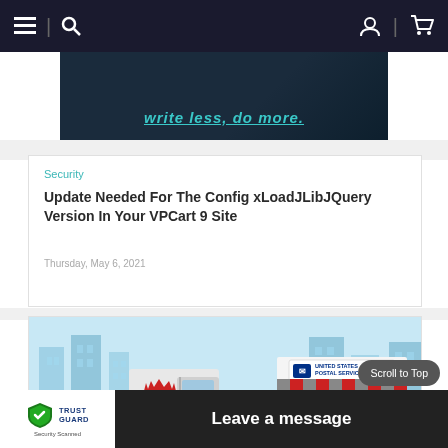Navigation bar with hamburger menu, search, user and cart icons
[Figure (screenshot): jQuery banner with text 'write less, do more.' on dark background]
Security
Update Needed For The Config xLoadJLibJQuery Version In Your VPCart 9 Site
Thursday, May 6, 2021
[Figure (illustration): United States Postal Service illustration showing a delivery truck with red crown logo and a USPS store building with striped awning and packages]
Scroll to Top
[Figure (logo): TrustGuard Security Scanned badge with shield icon]
Leave a message